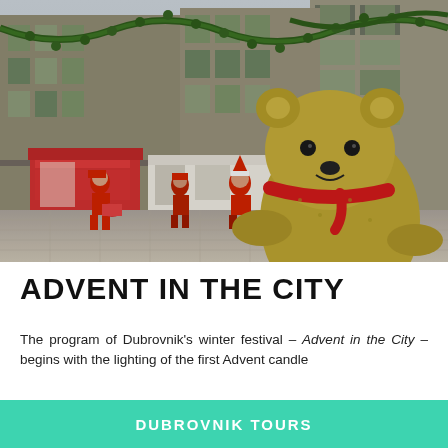[Figure (photo): Christmas festival scene in Dubrovnik old town showing performers in red costumes, a large straw teddy bear in the foreground with a red scarf, Christmas garlands, market stalls, and cobblestone street.]
ADVENT IN THE CITY
The program of Dubrovnik's winter festival – Advent in the City – begins with the lighting of the first Advent candle
DUBROVNIK TOURS